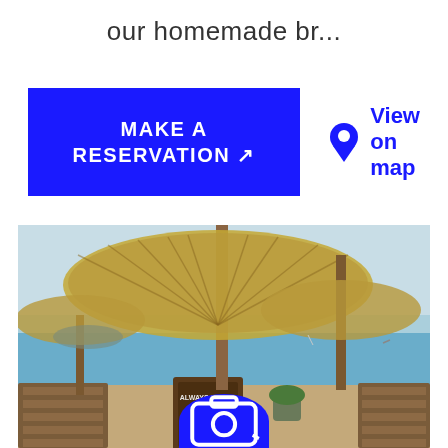our homemade br...
MAKE A RESERVATION ↗
View on map
[Figure (photo): Beach restaurant scene with thatched palm umbrella sunshades, wooden bench seating, a sign reading PERSON BECOME DECIDE TO BE, turquoise sea in background, sunny day]